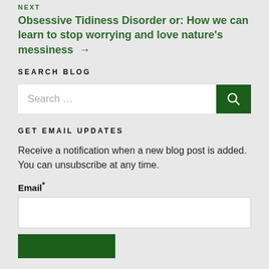NEXT
Obsessive Tidiness Disorder or: How we can learn to stop worrying and love nature's messiness →
SEARCH BLOG
Search ...
GET EMAIL UPDATES
Receive a notification when a new blog post is added. You can unsubscribe at any time.
Email*